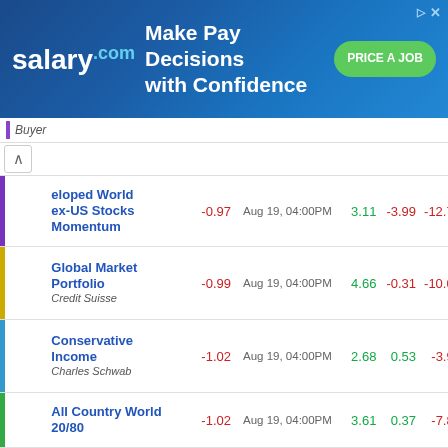[Figure (other): salary.com advertisement banner: Make Pay Decisions with Confidence. PRICE A JOB button.]
| Portfolio | Day Return | Date/Time | 3 Month | 1 Year | 3 Year |
| --- | --- | --- | --- | --- | --- |
| Developed World ex-US Stocks Momentum | -0.97 | Aug 19, 04:00PM | 3.11 | -3.99 | -12.71 |
| Global Market Portfolio / Credit Suisse | -0.99 | Aug 19, 04:00PM | 4.66 | -0.31 | -10.07 |
| Conservative Income / Charles Schwab | -1.02 | Aug 19, 04:00PM | 2.68 | 0.53 | -3.96 |
| All Country World 20/80 | -1.02 | Aug 19, 04:00PM | 3.61 | 0.37 | -7.82 |
| Vanguard LifeStrategy Income Fund / Vanguard | -1.09 | Aug 19, 04:00PM | 3.41 | 0.81 | -6.87 |
| GAA Global Asset Allocation / Mebane Faber | -1.10 | Aug 19, 04:00PM | 4.05 | -0.99 | -7.96 |
| All Weather Portfolio / Ray Dalio | -1.12 | Aug 19, 04:00PM | 3.40 | -1.11 | -8.12 |
| Rob Arnott Portfolio / Rob Arnott | -1.15 | Aug 19, 04:00PM | 3.77 | -0.91 | -5.71 |
| Stocks/Bonds 40/60 2x Leveraged | -1.22 | Aug 19, 04:00PM | 10.37 | 2.57 | -14.63 |